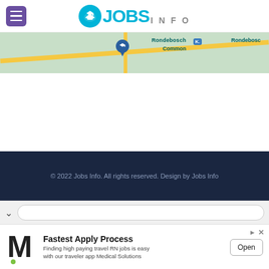[Figure (logo): Jobs Info website logo with hamburger menu icon on left and circular icon with graduation cap next to JOBS INFO text]
[Figure (map): Google Maps strip showing Rondebosch Common area with yellow road and location pin]
© 2022 Jobs Info. All rights reserved. Design by Jobs Info
[Figure (screenshot): Browser navigation bar with chevron down and search input]
[Figure (infographic): Advertisement banner: M logo, Fastest Apply Process - Finding high paying travel RN jobs is easy with our traveler app Medical Solutions, Open button]